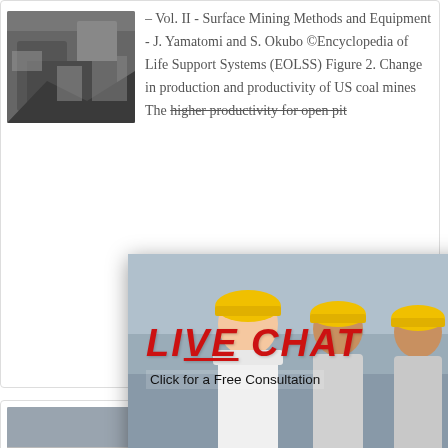[Figure (photo): Photo of mining machinery/equipment, grey tones showing rocks and industrial equipment]
– Vol. II - Surface Mining Methods and Equipment - J. Yamatomi and S. Okubo ©Encyclopedia of Life Support Systems (EOLSS) Figure 2. Change in production and productivity of US coal mines The higher productivity for open pit
[Figure (photo): Photo of large industrial mining/grinding mill inside a factory building]
Mining, Drilling, Infrastructure M...
Nov 30, 2020  This p... high-level informatio... Drilling and Civil Infrastructure
[Figure (screenshot): Live chat popup overlay with workers in yellow hard hats, LIVE CHAT text in red italic, Click for a Free Consultation text, Chat now and Chat later buttons, and a teal right panel with smiley face headset mascot, 7 hours online text, Click me to chat button, Enquiry section, and partial email address superbrian707@g...]